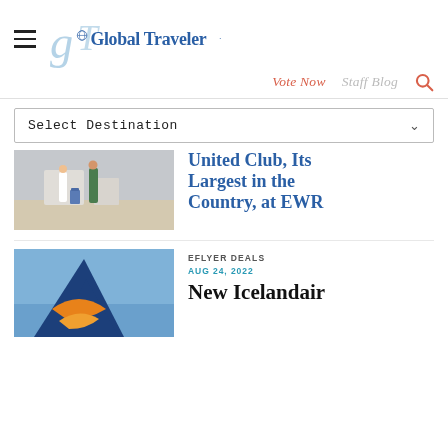Global Traveler
Vote Now   Staff Blog
Select Destination
[Figure (photo): Two travelers walking with luggage at an airport]
United Club, Its Largest in the Country, at EWR
[Figure (photo): Icelandair aircraft tail fin with orange and blue logo against sky]
EFLYER DEALS
AUG 24, 2022
New Icelandair